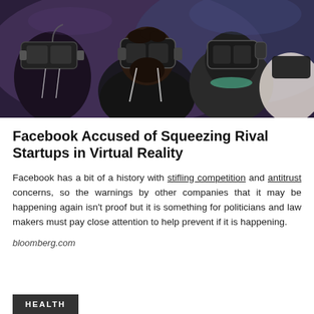[Figure (photo): People wearing VR headsets and headphones, looking upward, in a dimly lit event space with purple/blue ambient lighting.]
Facebook Accused of Squeezing Rival Startups in Virtual Reality
Facebook has a bit of a history with stifling competition and antitrust concerns, so the warnings by other companies that it may be happening again isn’t proof but it is something for politicians and law makers must pay close attention to help prevent if it is happening.
bloomberg.com
HEALTH